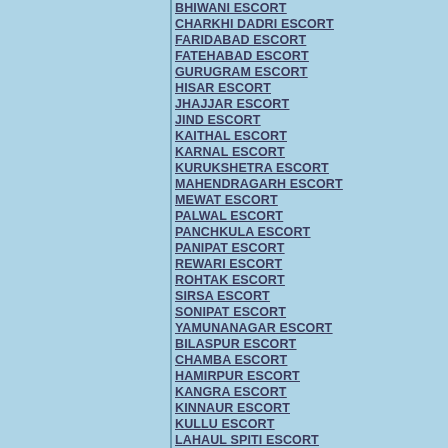BHIWANI ESCORT
CHARKHI DADRI ESCORT
FARIDABAD ESCORT
FATEHABAD ESCORT
GURUGRAM ESCORT
HISAR ESCORT
JHAJJAR ESCORT
JIND ESCORT
KAITHAL ESCORT
KARNAL ESCORT
KURUKSHETRA ESCORT
MAHENDRAGARH ESCORT
MEWAT ESCORT
PALWAL ESCORT
PANCHKULA ESCORT
PANIPAT ESCORT
REWARI ESCORT
ROHTAK ESCORT
SIRSA ESCORT
SONIPAT ESCORT
YAMUNANAGAR ESCORT
BILASPUR ESCORT
CHAMBA ESCORT
HAMIRPUR ESCORT
KANGRA ESCORT
KINNAUR ESCORT
KULLU ESCORT
LAHAUL SPITI ESCORT
MANDI ESCORT
SHIMLA ESCORT
SIRMAUR ESCORT
SOLAN ESCORT
UNA ESCORT